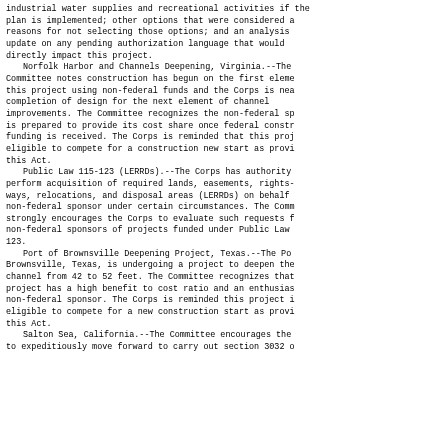industrial water supplies and recreational activities if the plan is implemented; other options that were considered and reasons for not selecting those options; and an analysis and update on any pending authorization language that would directly impact this project.
    Norfolk Harbor and Channels Deepening, Virginia.--The Committee notes construction has begun on the first element of this project using non-federal funds and the Corps is nearing completion of design for the next element of channel improvements. The Committee recognizes the non-federal sponsor is prepared to provide its cost share once federal construction funding is received. The Corps is reminded that this project is eligible to compete for a construction new start as provided in this Act.
    Public Law 115-123 (LERRDs).--The Corps has authority to perform acquisition of required lands, easements, rights-of-ways, relocations, and disposal areas (LERRDs) on behalf of a non-federal sponsor under certain circumstances. The Committee strongly encourages the Corps to evaluate such requests from non-federal sponsors of projects funded under Public Law 115-123.
    Port of Brownsville Deepening Project, Texas.--The Port of Brownsville, Texas, is undergoing a project to deepen the channel from 42 to 52 feet. The Committee recognizes that this project has a high benefit to cost ratio and an enthusiastic non-federal sponsor. The Corps is reminded this project is eligible to compete for a new construction start as provided in this Act.
    Salton Sea, California.--The Committee encourages the Corps to expeditiously move forward to carry out section 3032 of